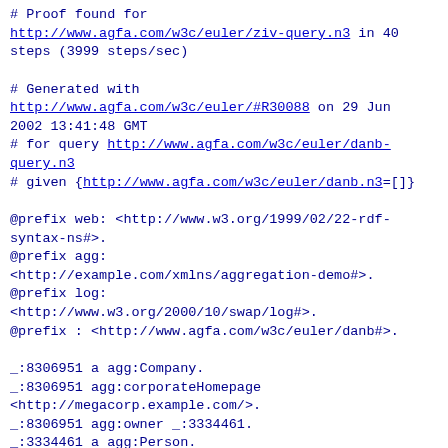# Proof found for http://www.agfa.com/w3c/euler/ziv-query.n3 in 40 steps (3999 steps/sec)

# Generated with http://www.agfa.com/w3c/euler/#R30088 on 29 Jun 2002 13:41:48 GMT
# for query http://www.agfa.com/w3c/euler/danb-query.n3
# given {http://www.agfa.com/w3c/euler/danb.n3=[]}

@prefix web: <http://www.w3.org/1999/02/22-rdf-syntax-ns#>.
@prefix agg: <http://example.com/xmlns/aggregation-demo#>.
@prefix log: <http://www.w3.org/2000/10/swap/log#>.
@prefix : <http://www.agfa.com/w3c/euler/danb#>.

_:8306951 a agg:Company.
_:8306951 agg:corporateHomepage <http://megacorp.example.com/>.
_:8306951 agg:owner _:3334461.
_:3334461 a agg:Person.
_:3334461 agg:personalMailbox <mailto:mega@megacorp.example.com>.
_:6386057 a agg:User.
_:6386057 agg:personalMailbox <mailto:mega@megacorp.example.com>.
_:8306957 agg:...